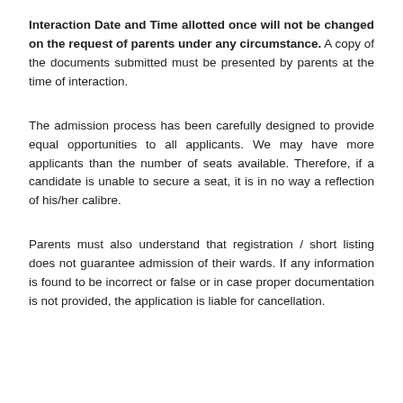Interaction Date and Time allotted once will not be changed on the request of parents under any circumstance. A copy of the documents submitted must be presented by parents at the time of interaction.
The admission process has been carefully designed to provide equal opportunities to all applicants. We may have more applicants than the number of seats available. Therefore, if a candidate is unable to secure a seat, it is in no way a reflection of his/her calibre.
Parents must also understand that registration / short listing does not guarantee admission of their wards. If any information is found to be incorrect or false or in case proper documentation is not provided, the application is liable for cancellation.